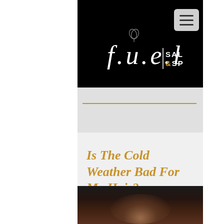[Figure (logo): f.u.e.l Salon & Spa logo in white italic text with gold ampersand on black background, with hamburger menu button in top right]
Is The Cold Weather Bad For My Hair?
[Figure (photo): Dark blurred photo of a person with hair, dark moody background]